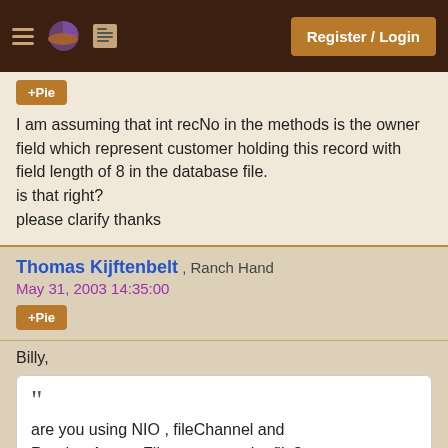Register / Login
I am assuming that int recNo in the methods is the owner field which represent customer holding this record with field length of 8 in the database file.
is that right?
please clarify thanks
Thomas Kijftenbelt , Ranch Hand
May 31, 2003 14:35:00
Billy,
are you using NIO , fileChannel and RandomAccessFile to aceess the file?
Yes.